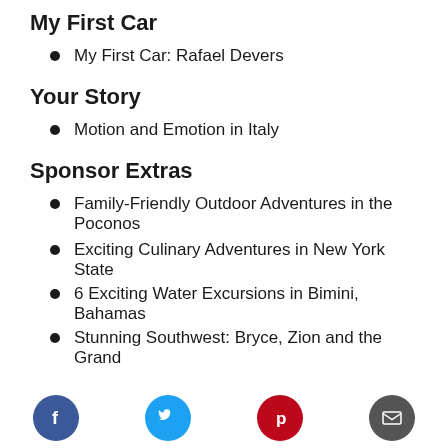My First Car
My First Car: Rafael Devers
Your Story
Motion and Emotion in Italy
Sponsor Extras
Family-Friendly Outdoor Adventures in the Poconos
Exciting Culinary Adventures in New York State
6 Exciting Water Excursions in Bimini, Bahamas
Stunning Southwest: Bryce, Zion and the Grand